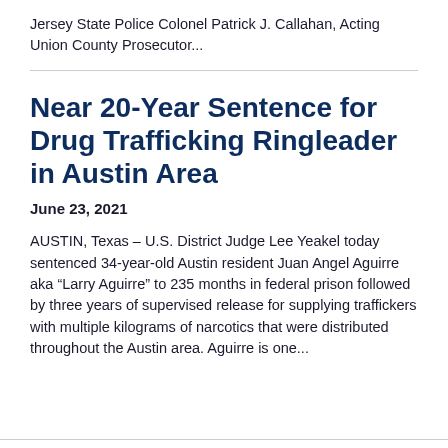Jersey State Police Colonel Patrick J. Callahan, Acting Union County Prosecutor...
Near 20-Year Sentence for Drug Trafficking Ringleader in Austin Area
June 23, 2021
AUSTIN, Texas – U.S. District Judge Lee Yeakel today sentenced 34-year-old Austin resident Juan Angel Aguirre aka “Larry Aguirre” to 235 months in federal prison followed by three years of supervised release for supplying traffickers with multiple kilograms of narcotics that were distributed throughout the Austin area. Aguirre is one...